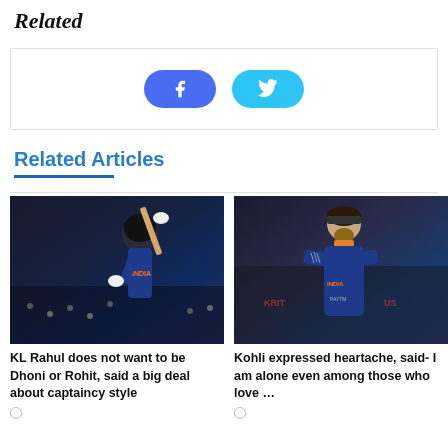Related
[Figure (other): Social share buttons - Facebook and Twitter]
Related Articles
[Figure (photo): KL Rahul in India cricket jersey raising bat at a match]
KL Rahul does not want to be Dhoni or Rohit, said a big deal about captaincy style
[Figure (photo): Virat Kohli in India cricket jersey looking down at a match]
Kohli expressed heartache, said- I am alone even among those who love …